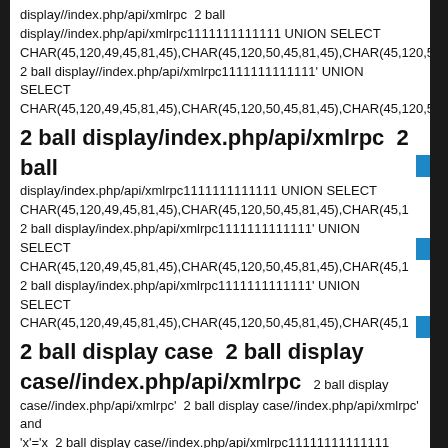display//index.php/api/xmlrpc  2 ball
display//index.php/api/xmlrpc1111111111111 UNION SELECT CHAR(45,120,49,45,81,45),CHAR(45,120,50,45,81,45),CHAR(45,120,51,
2 ball display//index.php/api/xmlrpc1111111111111' UNION SELECT
CHAR(45,120,49,45,81,45),CHAR(45,120,50,45,81,45),CHAR(45,120,51
2 ball display/index.php/api/xmlrpc  2 ball
display/index.php/api/xmlrpc1111111111111 UNION SELECT CHAR(45,120,49,45,81,45),CHAR(45,120,50,45,81,45),CHAR(45,1
2 ball display/index.php/api/xmlrpc1111111111111' UNION SELECT
CHAR(45,120,49,45,81,45),CHAR(45,120,50,45,81,45),CHAR(45,1
2 ball display/index.php/api/xmlrpc1111111111111' UNION SELECT
CHAR(45,120,49,45,81,45),CHAR(45,120,50,45,81,45),CHAR(45,1
2 ball display case  2 ball display case//index.php/api/xmlrpc  2 ball display
case//index.php/api/xmlrpc'  2 ball display case//index.php/api/xmlrpc' and 'x'='x  2 ball display case//index.php/api/xmlrpc11111111111111
UNION SELECT